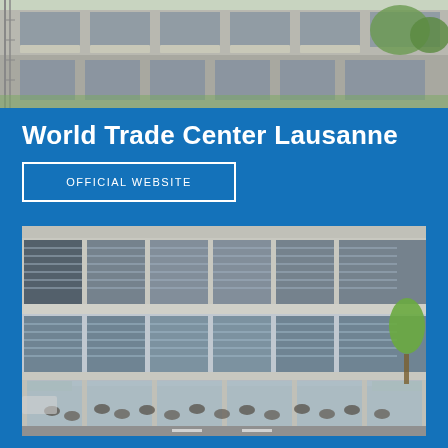[Figure (photo): Exterior photo of a multi-story residential or commercial building with scaffolding partially visible, awnings, and green trees, taken from outside.]
World Trade Center Lausanne
OFFICIAL WEBSITE
[Figure (photo): Exterior photo of the World Trade Center Lausanne building showing a modern glass and concrete structure with horizontal blinds, multiple floors, and a ground-floor restaurant terrace with people dining outside. Trees and a road are visible in the background.]